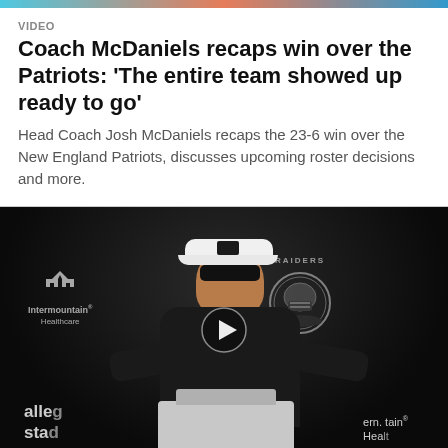VIDEO
Coach McDaniels recaps win over the Patriots: 'The entire team showed up ready to go'
Head Coach Josh McDaniels recaps the 23-6 win over the New England Patriots, discusses upcoming roster decisions and more.
[Figure (photo): Video thumbnail showing Head Coach Josh McDaniels at a Raiders press conference podium, wearing a white visor and sunglasses, with Intermountain Healthcare and Raiders logos visible in the background. A play button is overlaid on the image.]